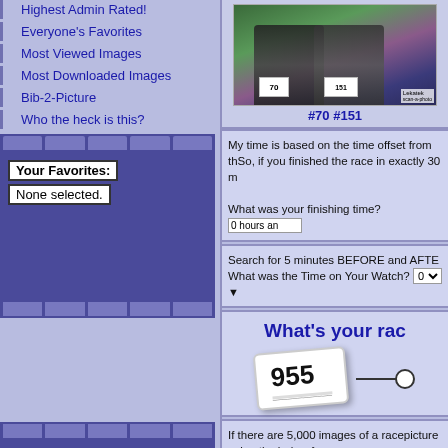Highest Admin Rated!
Everyone's Favorites
Most Viewed Images
Most Downloaded Images
Bib-2-Picture
Who the heck is this?
Your Favorites: None selected.
[Figure (photo): Two runners wearing race bibs #70 and #151]
#70 #151
My time is based on the time offset from th... So, if you finished the race in exactly 30 m...
What was your finishing time? 0 hours an...
Search for 5 minutes BEFORE and AFTE... What was the Time on Your Watch? 0
[Figure (infographic): What's your race number? Bib showing 955 with circle and line graphic]
If there are 5,000 images of a race... picture using the below form...